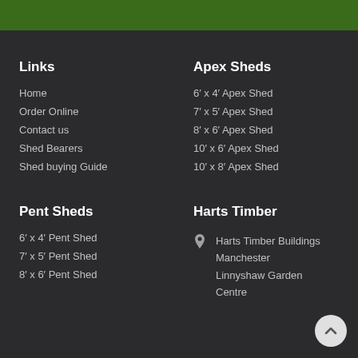Links
Home
Order Online
Contact us
Shed Bearers
Shed buying Guide
Apex Sheds
6′ x 4′ Apex Shed
7′ x 5′ Apex Shed
8′ x 6′ Apex Shed
10′ x 6′ Apex Shed
10′ x 8′ Apex Shed
Pent Sheds
6′ x 4′ Pent Shed
7′ x 5′ Pent Shed
8′ x 6′ Pent Shed
Harts Timber
Harts Timber Buildings Manchester Linnyshaw Garden Centre